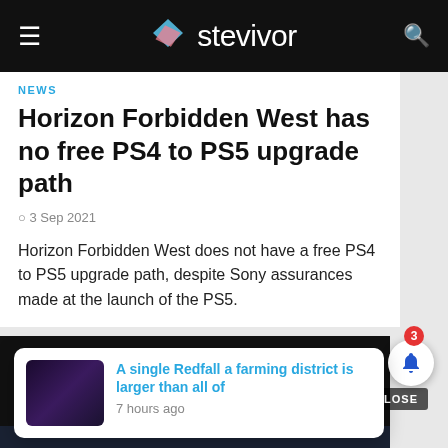stevivor
NEWS
Horizon Forbidden West has no free PS4 to PS5 upgrade path
3 Sep 2021
Horizon Forbidden West does not have a free PS4 to PS5 upgrade path, despite Sony assurances made at the launch of the PS5.
[Figure (screenshot): Stevivor advertisement banner with dark background showing stevivor logo and text FRIENDLY]
A single Redfall a farming district is larger than all of
7 hours ago